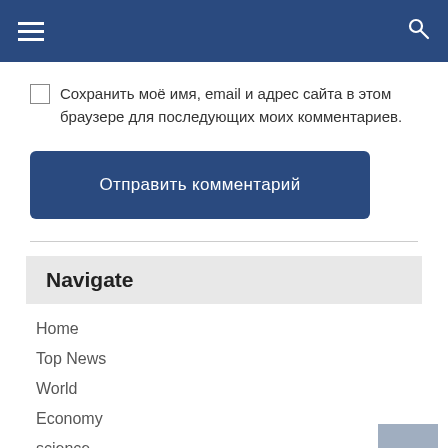Navigation header bar with menu and search icons
Сохранить моё имя, email и адрес сайта в этом браузере для последующих моих комментариев.
Отправить комментарий
Navigate
Home
Top News
World
Economy
science
Tech